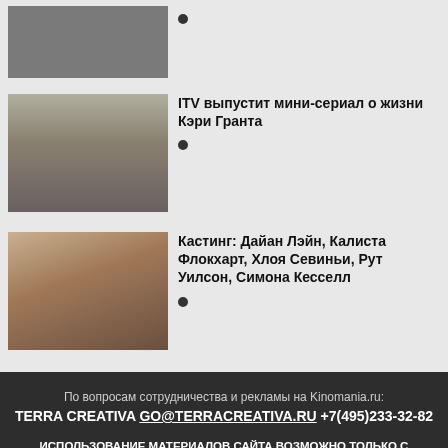[Figure (photo): Partial view of a man in a suit at the top of the page]
•
[Figure (photo): Man in a suit running from a biplane on a field]
ITV выпустит мини-сериал о жизни Кэри Гранта
•
[Figure (photo): Smiling woman with blonde hair]
Кастинг: Дайан Лэйн, Калиста Флокхарт, Хлоя Севиньи, Рут Уилсон, Симона Кесселл
•
По вопросам сотрудничества и рекламы на Kinomania.ru: TERRA CREATIVA GO@TERRACREATIVA.RU +7(495)233-32-82 ИСПОЛЬЗОВАНИЕ МАТЕРИАЛОВ САЙТА ВОЗМОЖНО ТОЛЬКО С РАЗРЕШЕНИЯ РЕДАКЦИИ. ГИПЕРССЫЛКА НА САЙТ ОБЯЗАТЕЛЬНА